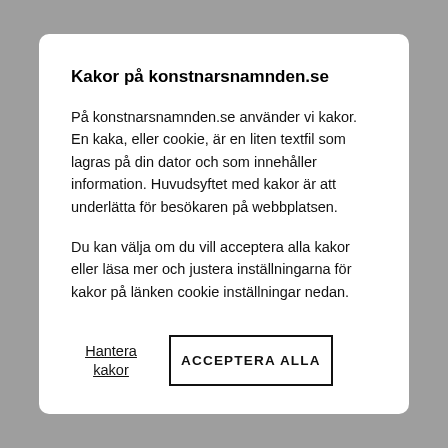Kakor på konstnarsnamnden.se
På konstnarsnamnden.se använder vi kakor. En kaka, eller cookie, är en liten textfil som lagras på din dator och som innehåller information. Huvudsyftet med kakor är att underlätta för besökaren på webbplatsen.
Du kan välja om du vill acceptera alla kakor eller läsa mer och justera inställningarna för kakor på länken cookie inställningar nedan.
Hantera kakor
ACCEPTERA ALLA